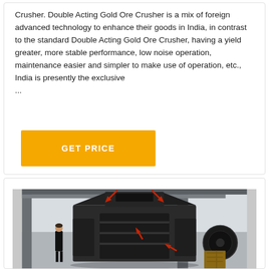Crusher. Double Acting Gold Ore Crusher is a mix of foreign advanced technology to enhance their goods in India, in contrast to the standard Double Acting Gold Ore Crusher, having a yield greater, more stable performance, low noise operation, maintenance easier and simpler to make use of operation, etc., India is presently the exclusive ...
GET PRICE
[Figure (photo): Photo of a large industrial impact crusher machine (dark grey/black) in a warehouse setting, with red arrow annotations pointing to key components. A person in black stands next to it for scale.]